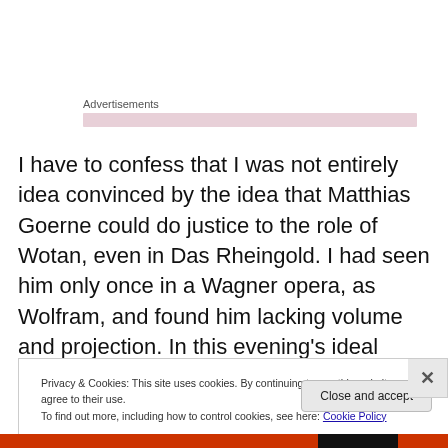Advertisements
I have to confess that I was not entirely idea convinced by the idea that Matthias Goerne could do justice to the role of Wotan, even in Das Rheingold. I had seen him only once in a Wagner opera, as Wolfram, and found him lacking volume and projection. In this evening’s ideal circumstances, that was definitely not the case. Although
Privacy & Cookies: This site uses cookies. By continuing to use this website, you agree to their use.
To find out more, including how to control cookies, see here: Cookie Policy
Close and accept